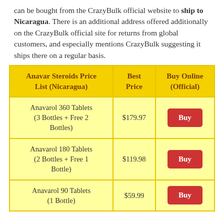can be bought from the CrazyBulk official website to ship to Nicaragua. There is an additional address offered additionally on the CrazyBulk official site for returns from global customers, and especially mentions CrazyBulk suggesting it ships there on a regular basis.
| Anavar Steroids Price List (Nicaragua) | Best Price | Buy Online (Official) |
| --- | --- | --- |
| Anavarol 360 Tablets (3 Bottles + Free 2 Bottles) | $179.97 | Buy |
| Anavarol 180 Tablets (2 Bottles + Free 1 Bottle) | $119.98 | Buy |
| Anavarol 90 Tablets (1 Bottle) | $59.99 | Buy |